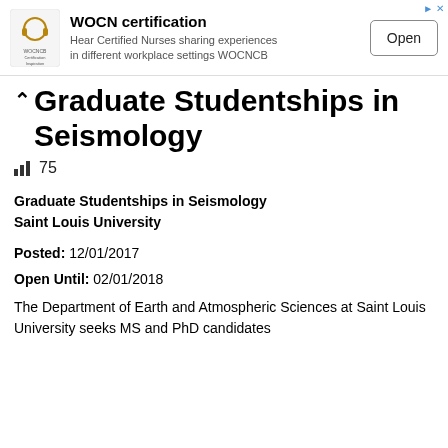[Figure (screenshot): Advertisement banner for WOCN certification featuring a logo, text 'Hear Certified Nurses sharing experiences in different workplace settings WOCNCB', and an 'Open' button]
Graduate Studentships in Seismology
75
Graduate Studentships in Seismology
Saint Louis University
Posted: 12/01/2017
Open Until: 02/01/2018
The Department of Earth and Atmospheric Sciences at Saint Louis University seeks MS and PhD candidates